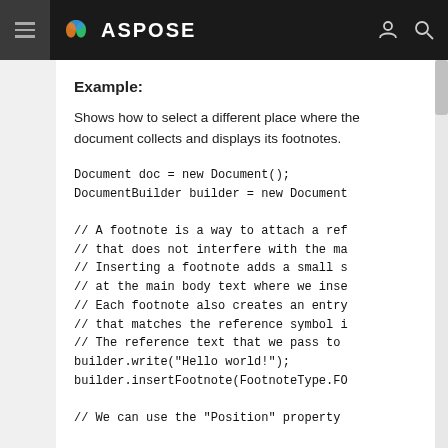ASPOSE
Example:
Shows how to select a different place where the document collects and displays its footnotes.
Document doc = new Document();
DocumentBuilder builder = new Document

// A footnote is a way to attach a ref
// that does not interfere with the ma
// Inserting a footnote adds a small s
// at the main body text where we inse
// Each footnote also creates an entry
// that matches the reference symbol i
// The reference text that we pass to
builder.write("Hello world!");
builder.insertFootnote(FootnoteType.FO

// We can use the "Position" property